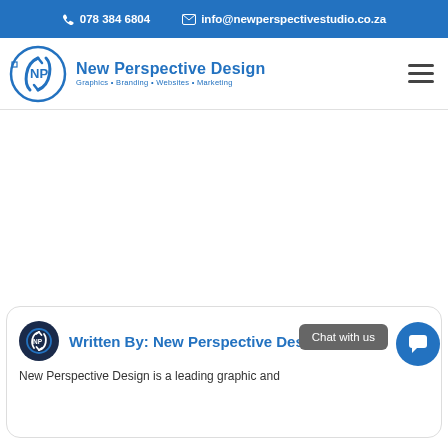078 384 6804   info@newperspectivestudio.co.za
[Figure (logo): New Perspective Design logo — circular NP monogram in blue with text 'New Perspective Design' and tagline 'Graphics • Branding • Websites • Marketing']
Written By: New Perspective Design
New Perspective Design is a leading graphic and